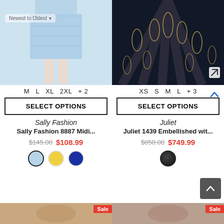[Figure (photo): Light blue lace midi dress worn by a model, shown from waist down]
[Figure (photo): Dark navy ballgown with gold embellished floral embroidery spread out]
M  L  XL  2XL  + 2
XS  S  M  L  + 3
SELECT OPTIONS
SELECT OPTIONS
Sally Fashion
Juliet
Sally Fashion 8887 Midi...
Juliet 1439 Embellished wit...
$145.00  $108.99
$850.00  $749.99
[Figure (photo): Bottom portion of left product card showing a dress with Sale badge]
[Figure (photo): Bottom portion of right product card showing a dress with Sale badge]